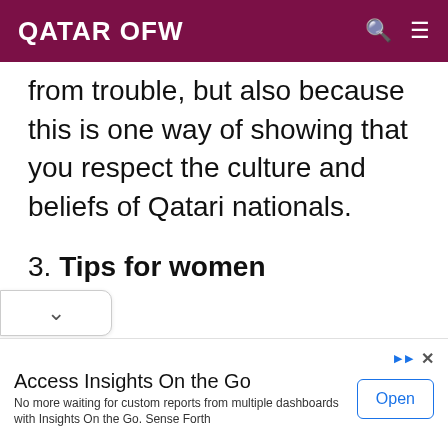QATAR OFW
from trouble, but also because this is one way of showing that you respect the culture and beliefs of Qatari nationals.
3. Tips for women
[Figure (other): Advertisement banner: 'Access Insights On the Go' with body text 'No more waiting for custom reports from multiple dashboards with Insights On the Go. Sense Forth' and an Open button.]